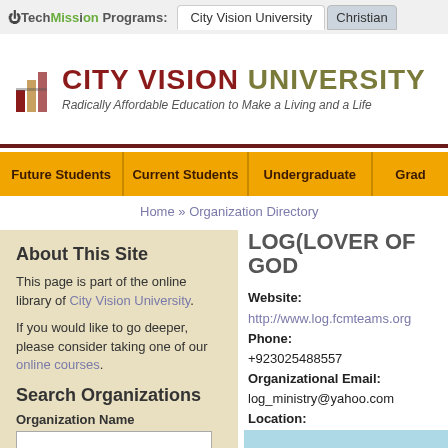TechMission Programs: | City Vision University | Christian
[Figure (logo): City Vision University logo with colored book stack icon]
CITY VISION UNIVERSITY
Radically Affordable Education to Make a Living and a Life
Future Students | Current Students | Undergraduate | Grad
Home » Organization Directory
About This Site
This page is part of the online library of City Vision University.
If you would like to go deeper, please consider taking one of our online courses.
Search Organizations
Organization Name
LOG(LOVER OF GOD
Website:
http://www.log.fcmteams.org
Phone:
+923025488557
Organizational Email:
log_ministry@yahoo.com
Location:
Street No.4 DaudNagar Warispura
Faisalabad, 54000
Pakistan
Map: